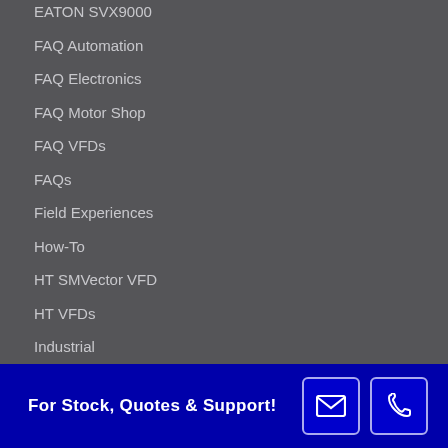EATON SVX9000
FAQ Automation
FAQ Electronics
FAQ Motor Shop
FAQ VFDs
FAQs
Field Experiences
How-To
HT SMVector VFD
HT VFDs
Industrial
Machine Shop Videos
News
Product Manuals
Service Offerings
For Stock, Quotes & Support!